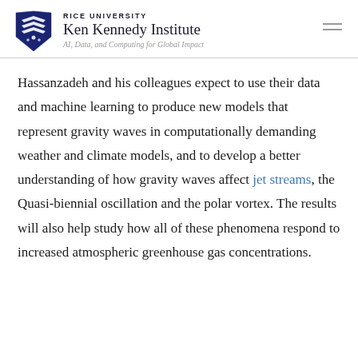RICE UNIVERSITY Ken Kennedy Institute — AI, Data, and Computing for Global Impact
Hassanzadeh and his colleagues expect to use their data and machine learning to produce new models that represent gravity waves in computationally demanding weather and climate models, and to develop a better understanding of how gravity waves affect jet streams, the Quasi-biennial oscillation and the polar vortex. The results will also help study how all of these phenomena respond to increased atmospheric greenhouse gas concentrations.